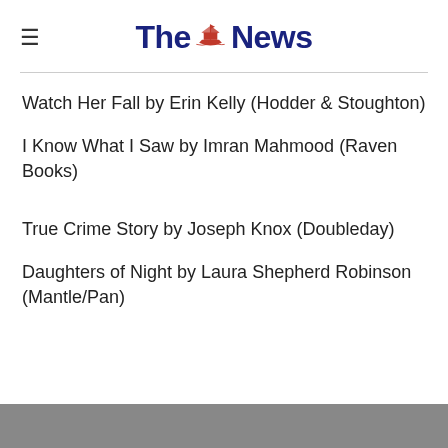The News
Watch Her Fall by Erin Kelly (Hodder & Stoughton)
I Know What I Saw by Imran Mahmood (Raven Books)
True Crime Story by Joseph Knox (Doubleday)
Daughters of Night by Laura Shepherd Robinson (Mantle/Pan)